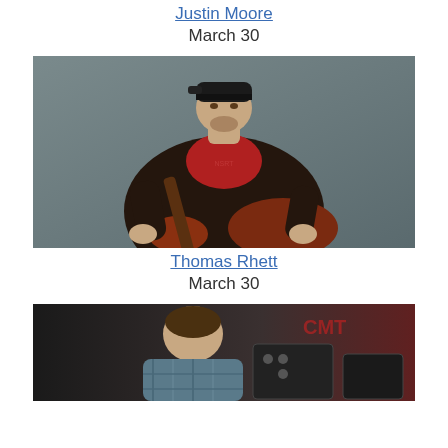Justin Moore
March 30
[Figure (photo): Photo of Thomas Rhett — young man wearing a backwards cap and brown leather jacket, holding a guitar, red shirt visible underneath]
Thomas Rhett
March 30
[Figure (photo): Partial photo of another artist — young man in a plaid shirt, head bowed, performing on stage with equipment visible in background]